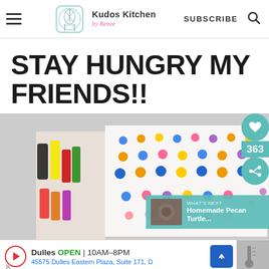Kudos Kitchen by Renee — SUBSCRIBE
STAY HUNGRY MY FRIENDS!!
[Figure (photo): A decorated white cake covered with colorful candy dots (blue, orange, yellow, pink, purple) arranged in rows, surrounded by bottles of food coloring on the left side. Social share buttons (heart icon, 363 count, share icon) visible on the right overlay. A 'What's Next: Homemade Pecan Turtle...' teaser overlay in teal at bottom right.]
Dulles OPEN 10AM–8PM 45575 Dulles Eastern Plaza, Suite 171, D